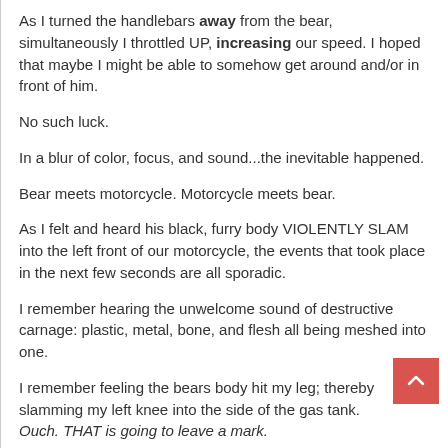As I turned the handlebars away from the bear, simultaneously I throttled UP, increasing our speed. I hoped that maybe I might be able to somehow get around and/or in front of him.
No such luck.
In a blur of color, focus, and sound...the inevitable happened.
Bear meets motorcycle. Motorcycle meets bear.
As I felt and heard his black, furry body VIOLENTLY SLAM into the left front of our motorcycle, the events that took place in the next few seconds are all sporadic.
I remember hearing the unwelcome sound of destructive carnage: plastic, metal, bone, and flesh all being meshed into one.
I remember feeling the bears body hit my leg; thereby slamming my left knee into the side of the gas tank. Ouch. THAT is going to leave a mark.